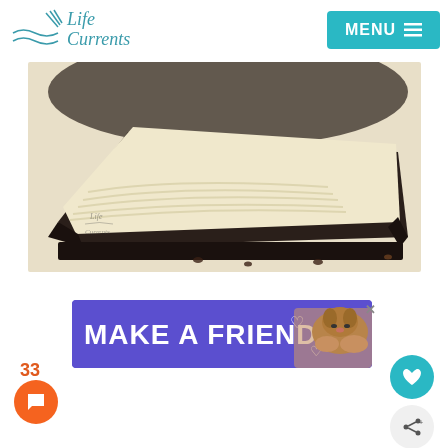Life Currents | MENU
[Figure (photo): Close-up of a chocolate crust tart with creamy white filling, sliced and displayed on a light background. Life Currents watermark visible.]
[Figure (infographic): Purple advertisement banner reading MAKE A FRIEND with a dog photo and heart graphics]